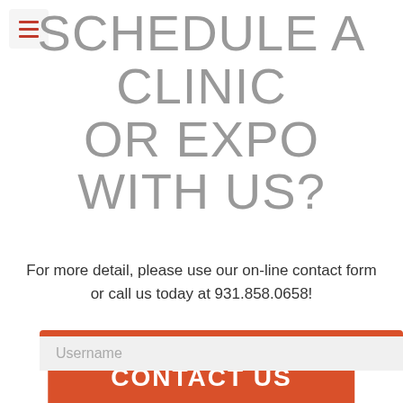[Figure (other): Hamburger menu icon button with three horizontal red lines on a light grey background]
SCHEDULE A CLINIC OR EXPO WITH US?
For more detail, please use our on-line contact form or call us today at 931.858.0658!
[Figure (other): Orange-red button with white uppercase text reading CONTACT US]
LOGIN FORM
Username